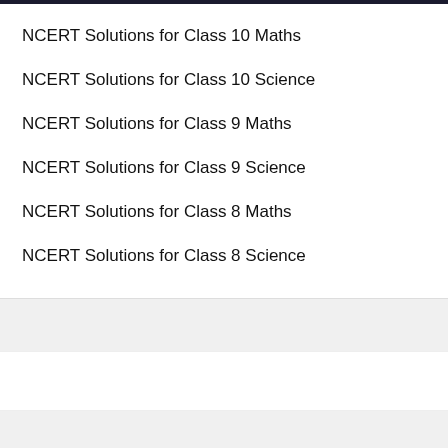NCERT Solutions for Class 10 Maths
NCERT Solutions for Class 10 Science
NCERT Solutions for Class 9 Maths
NCERT Solutions for Class 9 Science
NCERT Solutions for Class 8 Maths
NCERT Solutions for Class 8 Science
NCERT Solutions
NCERT Solutions
NCERT Solutions for Class 10 Maths